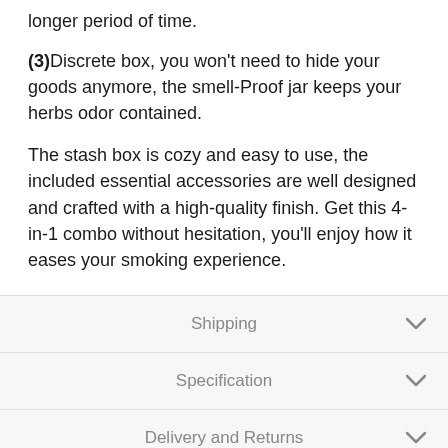longer period of time.
(3)Discrete box, you won't need to hide your goods anymore, the smell-Proof jar keeps your herbs odor contained.
The stash box is cozy and easy to use, the included essential accessories are well designed and crafted with a high-quality finish. Get this 4-in-1 combo without hesitation, you'll enjoy how it eases your smoking experience.
Shipping
Specification
Delivery and Returns
Why Buy From Us